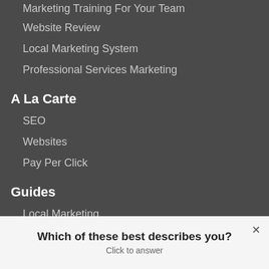Marketing Training For Your Team
Website Review
Local Marketing System
Professional Services Marketing
A La Carte
SEO
Websites
Pay Per Click
Guides
Local Marketing
Professional Services
Consulting Business
Marketing Strategy Plan
Which of these best describes you?
Click to answer